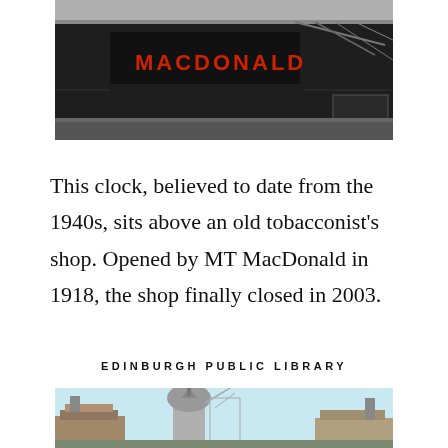[Figure (photo): Close-up photo of a MacDonald's shop sign, dark background with red lettering, cables and equipment visible, taken from below looking up at the signage]
This clock, believed to date from the 1940s, sits above an old tobacconist's shop. Opened by MT MacDonald in 1918, the shop finally closed in 2003.
EDINBURGH PUBLIC LIBRARY
[Figure (photo): Exterior photograph of Edinburgh Public Library building showing ornate Victorian architecture with a domed tower and spire against a light blue sky]